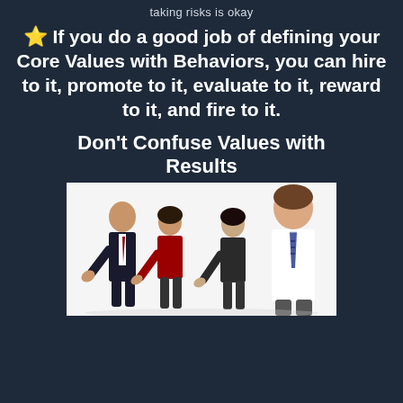taking risks is okay
⭐ If you do a good job of defining your Core Values with Behaviors, you can hire to it, promote to it, evaluate to it, reward to it, and fire to it.
Don't Confuse Values with Results
[Figure (photo): Four business professionals standing together giving thumbs up, on white background]